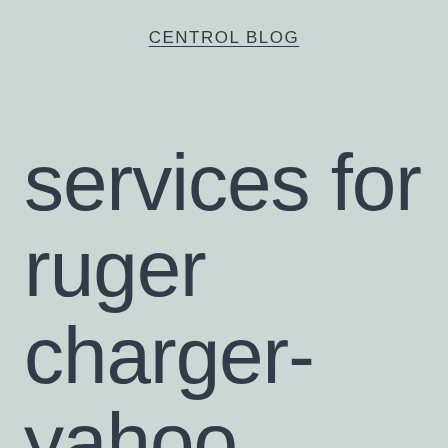CENTROL BLOG
services for ruger charger-yahoo research